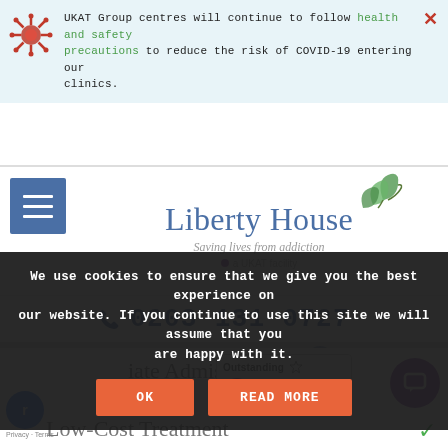UKAT Group centres will continue to follow health and safety precautions to reduce the risk of COVID-19 entering our clinics.
[Figure (logo): Liberty House logo with ivy/leaf decoration, tagline 'Saving lives from addiction', 'a UKAT facility']
0203 131 0727
[Figure (screenshot): Cookie consent overlay with OK and READ MORE buttons]
We use cookies to ensure that we give you the best experience on our website. If you continue to use this site we will assume that you are happy with it.
OK
READ MORE
iate Admission
Low-Cost Treatment
[Figure (logo): Care Quality Commission Outstanding badge]
Privacy · Terms